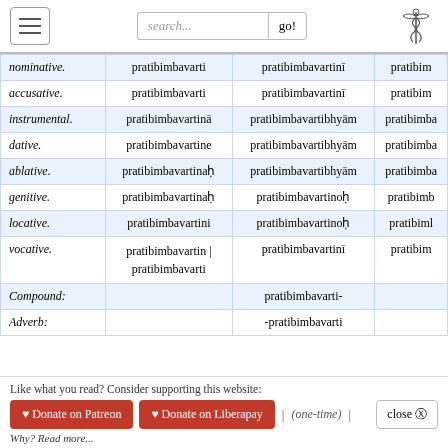Navigation and search bar with caduceus logo
| Case | Singular | Dual | Plural |
| --- | --- | --- | --- |
| nominative. | pratibimbavarti | pratibimbavartinī | pratibim… |
| accusative. | pratibimbavarti | pratibimbavartinī | pratibim… |
| instrumental. | pratibimbavartinā | pratibimbavartibhyām | pratibimba… |
| dative. | pratibimbavartine | pratibimbavartibhyām | pratibimba… |
| ablative. | pratibimbavartinaḥ | pratibimbavartibhyām | pratibimba… |
| genitive. | pratibimbavartinaḥ | pratibimbavartinoḥ | pratibimb… |
| locative. | pratibimbavartini | pratibimbavartinoḥ | pratibiml… |
| vocative. | pratibimbavartin | pratibimbavarti | pratibimbavartinī | pratibim… |
| Compound: |  | pratibimbavarti- |  |
| Adverb: |  | -pratibimbavarti |  |
Like what you read? Consider supporting this website:
♥ Donate on Patreon  ♥ Donate on Liberapay  |  (one-time)  |  close ✕
Why? Read more...